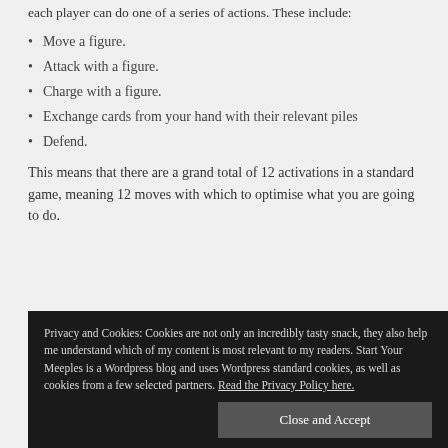each player can do one of a series of actions. These include:
Move a figure.
Attack with a figure.
Charge with a figure.
Exchange cards from your hand with their relevant piles
Defend.
This means that there are a grand total of 12 activations in a standard game, meaning 12 moves with which to optimise what you are going to do.
Privacy and Cookies: Cookies are not only an incredibly tasty snack, they also help me understand which of my content is most relevant to my readers. Start Your Meeples is a Wordpress blog and uses Wordpress standard cookies, as well as cookies from a few selected partners. Read the Privacy Policy here.
Close and Accept